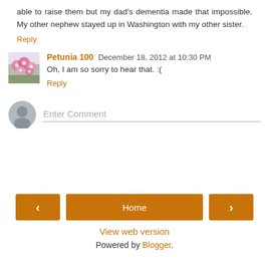able to raise them but my dad's dementia made that impossible. My other nephew stayed up in Washington with my other sister.
Reply
Petunia 100  December 18, 2012 at 10:30 PM
Oh, I am so sorry to hear that. :(
Reply
Enter Comment
Home
View web version
Powered by Blogger.